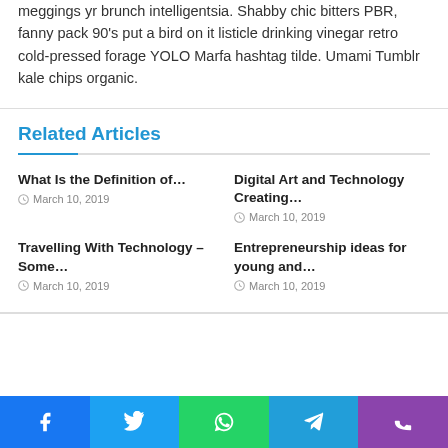meggings yr brunch intelligentsia. Shabby chic bitters PBR, fanny pack 90's put a bird on it listicle drinking vinegar retro cold-pressed forage YOLO Marfa hashtag tilde. Umami Tumblr kale chips organic.
Related Articles
What Is the Definition of… — March 10, 2019
Digital Art and Technology Creating… — March 10, 2019
Travelling With Technology – Some… — March 10, 2019
Entrepreneurship ideas for young and… — March 10, 2019